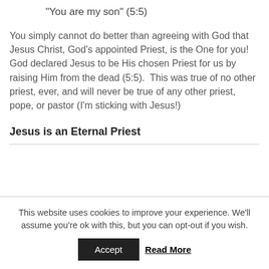"You are my son" (5:5)
You simply cannot do better than agreeing with God that Jesus Christ, God's appointed Priest, is the One for you! God declared Jesus to be His chosen Priest for us by raising Him from the dead (5:5).  This was true of no other priest, ever, and will never be true of any other priest, pope, or pastor (I'm sticking with Jesus!)
Jesus is an Eternal Priest
This website uses cookies to improve your experience. We'll assume you're ok with this, but you can opt-out if you wish.